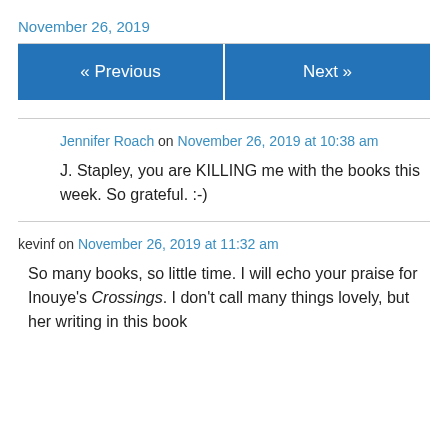November 26, 2019
« Previous
Next »
Jennifer Roach on November 26, 2019 at 10:38 am
J. Stapley, you are KILLING me with the books this week. So grateful. :-)
kevinf on November 26, 2019 at 11:32 am
So many books, so little time. I will echo your praise for Inouye's Crossings. I don't call many things lovely, but her writing in this book